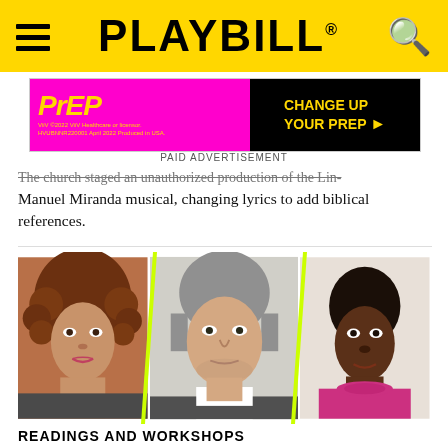PLAYBILL
[Figure (photo): PrEP advertisement banner with magenta background and 'CHANGE UP YOUR PrEP' text]
PAID ADVERTISEMENT
The church staged an unauthorized production of the Lin-Manuel Miranda musical, changing lyrics to add biblical references.
[Figure (photo): Three headshots side by side separated by yellow diagonal lines: a woman with curly hair, a middle-aged man in grey sweater, and a young man in magenta turtleneck]
READINGS AND WORKSHOPS